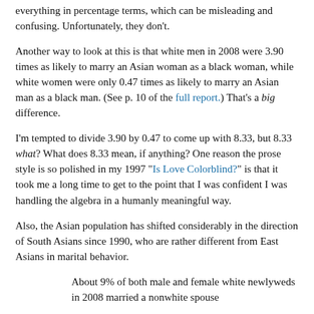everything in percentage terms, which can be misleading and confusing. Unfortunately, they don't.
Another way to look at this is that white men in 2008 were 3.90 times as likely to marry an Asian woman as a black woman, while white women were only 0.47 times as likely to marry an Asian man as a black man. (See p. 10 of the full report.) That's a big difference.
I'm tempted to divide 3.90 by 0.47 to come up with 8.33, but 8.33 what? What does 8.33 mean, if anything? One reason the prose style is so polished in my 1997 "Is Love Colorblind?" is that it took me a long time to get to the point that I was confident I was handling the algebra in a humanly meaningful way.
Also, the Asian population has shifted considerably in the direction of South Asians since 1990, who are rather different from East Asians in marital behavior.
About 9% of both male and female white newlyweds in 2008 married a nonwhite spouse